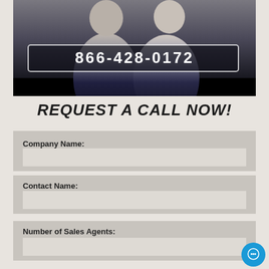[Figure (photo): Two business professionals in dark suits standing in an office, with a phone number overlay bar showing 866-428-0172]
REQUEST A CALL NOW!
Company Name:
Contact Name:
Number of Sales Agents: